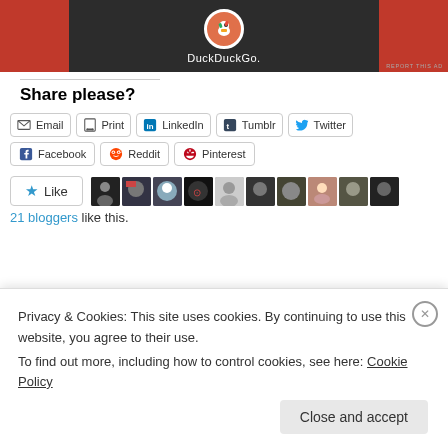[Figure (screenshot): DuckDuckGo advertisement banner with orange sides and dark center, showing DuckDuckGo logo and text]
REPORT THIS AD
Share please?
Email
Print
LinkedIn
Tumblr
Twitter
Facebook
Reddit
Pinterest
21 bloggers like this.
Privacy & Cookies: This site uses cookies. By continuing to use this website, you agree to their use.
To find out more, including how to control cookies, see here: Cookie Policy
Close and accept